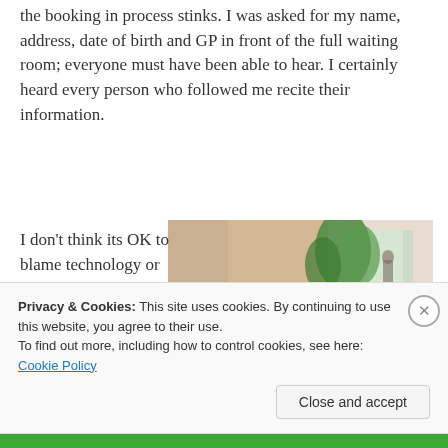the booking in process stinks. I was asked for my name, address, date of birth and GP in front of the full waiting room; everyone must have been able to hear. I certainly heard every person who followed me recite their information.
I don't think its OK to blame technology or
[Figure (photo): A hospital waiting room with rows of grey metal chairs and a corridor visible in the background, with a plant near the entrance.]
Privacy & Cookies: This site uses cookies. By continuing to use this website, you agree to their use.
To find out more, including how to control cookies, see here: Cookie Policy